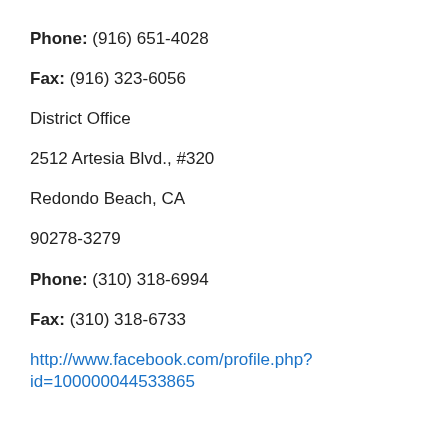Phone: (916) 651-4028
Fax: (916) 323-6056
District Office
2512 Artesia Blvd., #320
Redondo Beach, CA
90278-3279
Phone: (310) 318-6994
Fax: (310) 318-6733
http://www.facebook.com/profile.php?id=100000044533865